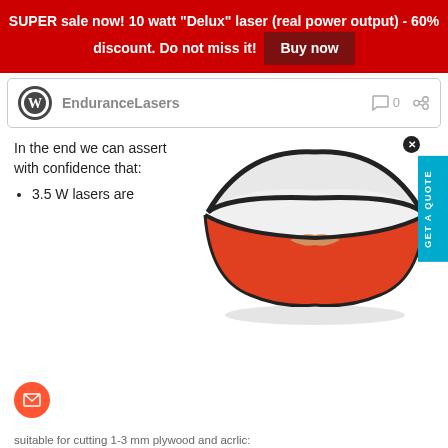SUPER sale now! 10 watt "Delux" laser (real power output) - 60% discount. Do not miss it! Buy now
[Figure (screenshot): WordPress site header bar with WordPress logo, site name 'EnduranceLasers', comment count 0, and share icon]
In the end we can assert with confidence that:
3.5 W lasers are
[Figure (photo): Laser safety glasses with red/orange lenses and white/black frame on white background]
suitable for cutting 1-3 mm plywood and acrlic: